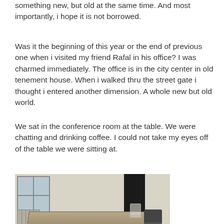something new, but old at the same time. And most importantly, i hope it is not borrowed.
Was it the beginning of this year or the end of previous one when i visited my friend Rafal in his office? I was charmed immediately. The office is in the city center in old tenement house. When i walked thru the street gate i thought i entered another dimension. A whole new but old world.
We sat in the conference room at the table. We were chatting and drinking coffee. I could not take my eyes off of the table we were sitting at.
[Figure (photo): A rustic wooden conference table with ornate white painted legs in an old office space. A modern dark chair and a clear chair are visible. A radiator is on the left wall beneath a window. A dark doorway is in the background.]